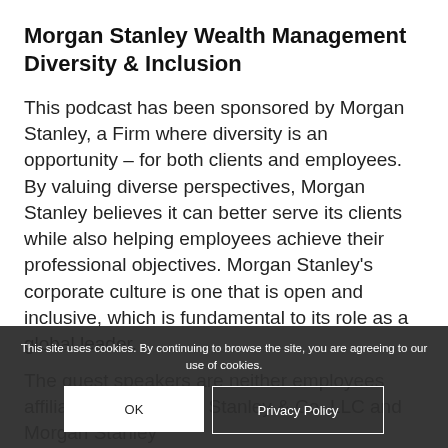Morgan Stanley Wealth Management Diversity & Inclusion
This podcast has been sponsored by Morgan Stanley, a Firm where diversity is an opportunity – for both clients and employees. By valuing diverse perspectives, Morgan Stanley believes it can better serve its clients while also helping employees achieve their professional objectives. Morgan Stanley's corporate culture is one that is open and inclusive, which is fundamental to its role as a global leader.
The guest speakers are neither employees... affiliated with Morgan Stanley & Co. LLC and Morgan Stanley...
This site uses cookies. By continuing to browse the site, you are agreeing to our use of cookies.